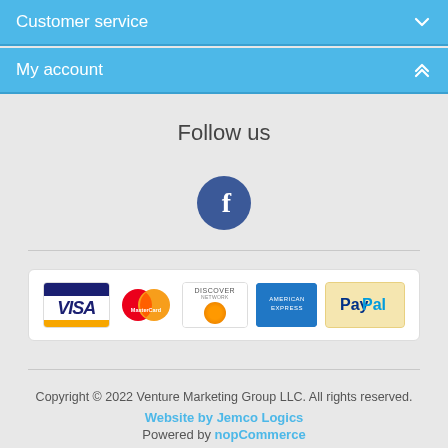Customer service
My account
Follow us
[Figure (logo): Facebook logo icon — white 'f' on dark blue circle]
[Figure (logo): Payment method logos: Visa, MasterCard, Discover, American Express, PayPal]
Copyright © 2022 Venture Marketing Group LLC. All rights reserved.
Website by Jemco Logics
Powered by nopCommerce